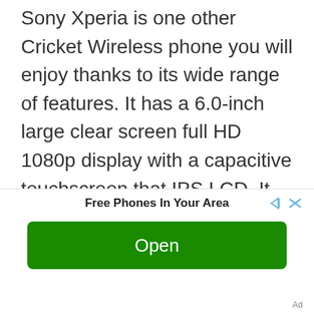Sony Xperia is one other Cricket Wireless phone you will enjoy thanks to its wide range of features. It has a 6.0-inch large clear screen full HD 1080p display with a capacitive touchscreen that IPS LCD. It has a pixel resolution of 1080 x 1920 with 367 PPI. It comes packed with an internal memory of 32 GB and a RAM of 4GB. The internal memory is expandable with a micro SD of up to 256GB.
[Figure (infographic): Advertisement banner: 'Free Phones In Your Area' with skip/close icons and a green Open button, with 'Ad' label at bottom right.]